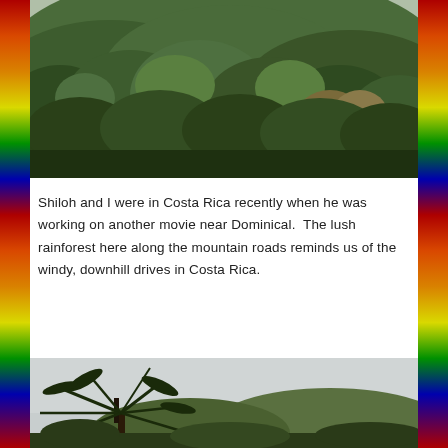[Figure (photo): Aerial view of a lush green rainforest covering a hillside, with dense canopy of tropical trees in varying shades of green, taken near Dominical, Costa Rica.]
Shiloh and I were in Costa Rica recently when he was working on another movie near Dominical.  The lush rainforest here along the mountain roads reminds us of the windy, downhill drives in Costa Rica.
[Figure (photo): Tropical palm tree (tree fern) silhouetted against a grey overcast sky, with more tropical vegetation in the background, Costa Rica.]